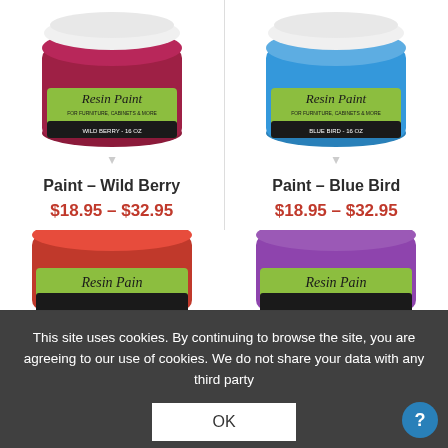[Figure (photo): Jar of Wild Berry Resin Paint, dark red/berry colored, with label showing 'Resin Paint for Furniture, Cabinets & More, Wild Berry - 16 oz']
Paint – Wild Berry
$18.95 – $32.95
[Figure (photo): Jar of Blue Bird Resin Paint, bright blue colored, with label showing 'Resin Paint for Furniture, Cabinets & More, Blue Bird - 16 oz']
Paint – Blue Bird
$18.95 – $32.95
This site uses cookies. By continuing to browse the site, you are agreeing to our use of cookies. We do not share your data with any third party
OK